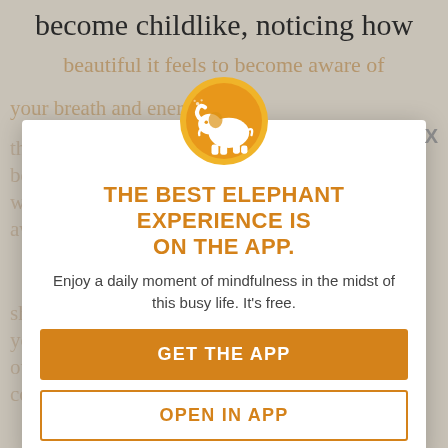become childlike, noticing how
beautiful it feels to become aware of your breath and energy.
Thank yourself for taking this time to become so self-aware. There are so many ways to continue to increase your self-awareness. I personally utilize these to deal with a giant mindfulness shift. They take about 5 minutes each and I think you all have 15 minutes a day to dedicate to your self-awareness. This has changed my life continue to change using these tools.
[Figure (logo): Orange circular elephant logo icon]
THE BEST ELEPHANT EXPERIENCE IS ON THE APP.
Enjoy a daily moment of mindfulness in the midst of this busy life. It's free.
GET THE APP
OPEN IN APP